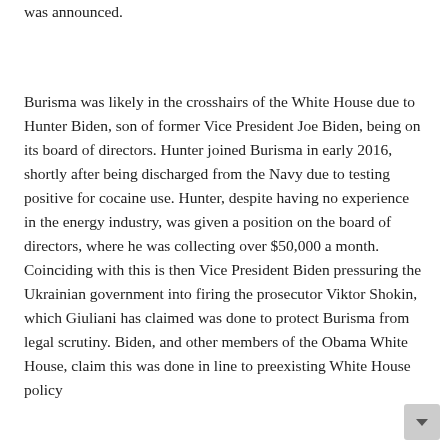was announced.
Burisma was likely in the crosshairs of the White House due to Hunter Biden, son of former Vice President Joe Biden, being on its board of directors. Hunter joined Burisma in early 2016, shortly after being discharged from the Navy due to testing positive for cocaine use. Hunter, despite having no experience in the energy industry, was given a position on the board of directors, where he was collecting over $50,000 a month. Coinciding with this is then Vice President Biden pressuring the Ukrainian government into firing the prosecutor Viktor Shokin, which Giuliani has claimed was done to protect Burisma from legal scrutiny. Biden, and other members of the Obama White House, claim this was done in line to preexisting White House policy